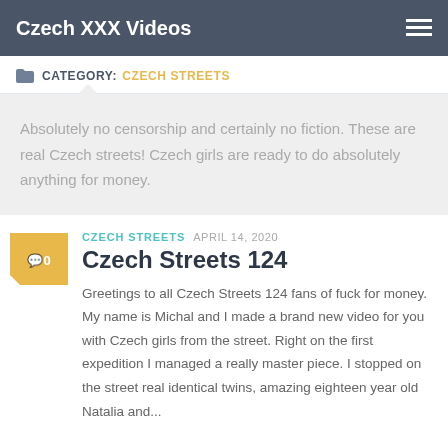Czech XXX Videos
CATEGORY: CZECH STREETS
Absolutely no censorship and certainly no fiction. These are real Czech streets! Czech girls are ready to do absolutely anything for money.
CZECH STREETS  APRIL 14, 2020
Czech Streets 124
Greetings to all Czech Streets 124 fans of fuck for money. My name is Michal and I made a brand new video for you with Czech girls from the street. Right on the first expedition I managed a really master piece. I stopped on the street real identical twins, amazing eighteen year old Natalia and...